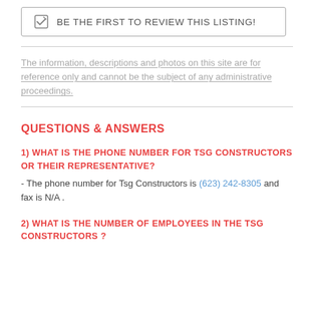BE THE FIRST TO REVIEW THIS LISTING!
The information, descriptions and photos on this site are for reference only and cannot be the subject of any administrative proceedings.
QUESTIONS & ANSWERS
1) WHAT IS THE PHONE NUMBER FOR TSG CONSTRUCTORS OR THEIR REPRESENTATIVE?
- The phone number for Tsg Constructors is (623) 242-8305 and fax is N/A .
2) WHAT IS THE NUMBER OF EMPLOYEES IN THE TSG CONSTRUCTORS ?